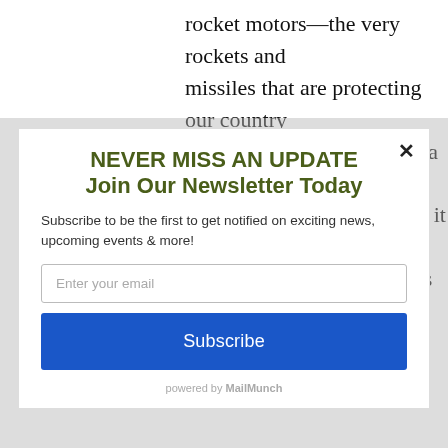rocket motors—the very rockets and missiles that are protecting our country and that protect South Korea from North Korea. So not only is it cutting-edge technology, but it feels good to
NEVER MISS AN UPDATE
Join Our Newsletter Today
Subscribe to be the first to get notified on exciting news, upcoming events & more!
Enter your email
Subscribe
powered by MailMunch